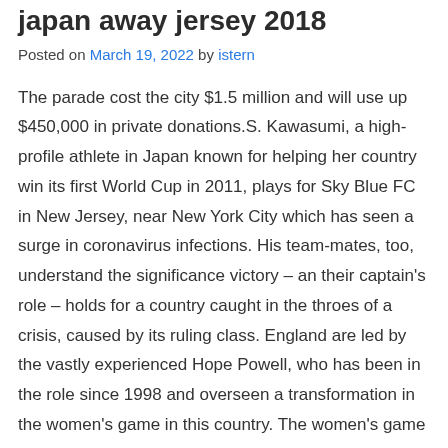japan away jersey 2018
Posted on March 19, 2022 by istern
The parade cost the city $1.5 million and will use up $450,000 in private donations.S. Kawasumi, a high-profile athlete in Japan known for helping her country win its first World Cup in 2011, plays for Sky Blue FC in New Jersey, near New York City which has seen a surge in coronavirus infections. His team-mates, too, understand the significance victory – an their captain's role – holds for a country caught in the throes of a crisis, caused by its ruling class. England are led by the vastly experienced Hope Powell, who has been in the role since 1998 and overseen a transformation in the women's game in this country. The women's game has grown